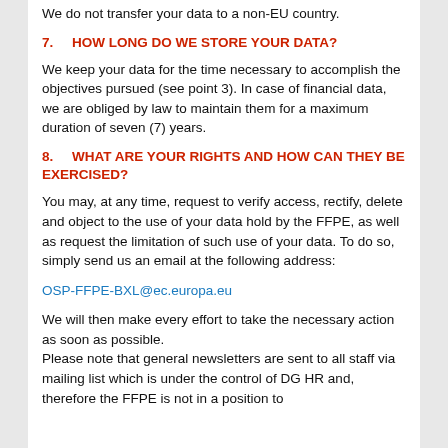We do not transfer your data to a non-EU country.
7.    HOW LONG DO WE STORE YOUR DATA?
We keep your data for the time necessary to accomplish the objectives pursued (see point 3). In case of financial data, we are obliged by law to maintain them for a maximum duration of seven (7) years.
8.    WHAT ARE YOUR RIGHTS AND HOW CAN THEY BE EXERCISED?
You may, at any time, request to verify access, rectify, delete and object to the use of your data hold by the FFPE, as well as request the limitation of such use of your data. To do so, simply send us an email at the following address:
OSP-FFPE-BXL@ec.europa.eu
We will then make every effort to take the necessary action as soon as possible.
Please note that general newsletters are sent to all staff via mailing list which is under the control of DG HR and, therefore the FFPE is not in a position to